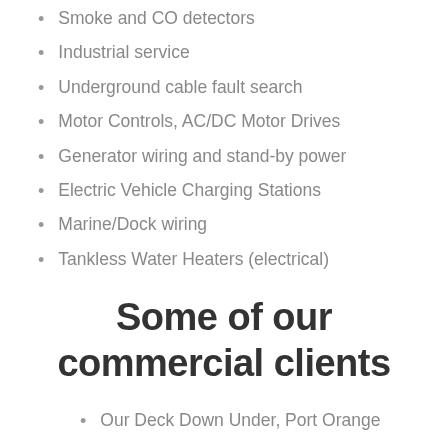Smoke and CO detectors
Industrial service
Underground cable fault search
Motor Controls, AC/DC Motor Drives
Generator wiring and stand-by power
Electric Vehicle Charging Stations
Marine/Dock wiring
Tankless Water Heaters (electrical)
Some of our commercial clients
Our Deck Down Under, Port Orange
Ponce Inlet Realty, Ponce Inlet